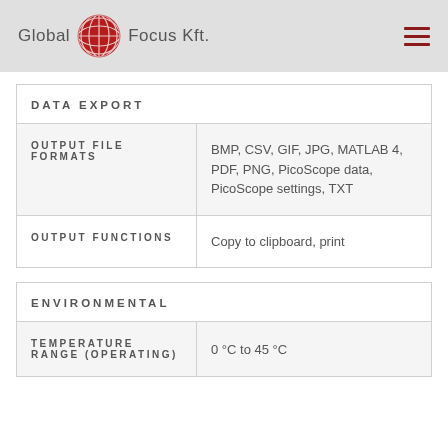Global Focus Kft.
DATA EXPORT
|  |  |
| --- | --- |
| OUTPUT FILE FORMATS | BMP, CSV, GIF, JPG, MATLAB 4, PDF, PNG, PicoScope data, PicoScope settings, TXT |
| OUTPUT FUNCTIONS | Copy to clipboard, print |
ENVIRONMENTAL
|  |  |
| --- | --- |
| TEMPERATURE RANGE (OPERATING) | 0 °C to 45 °C |